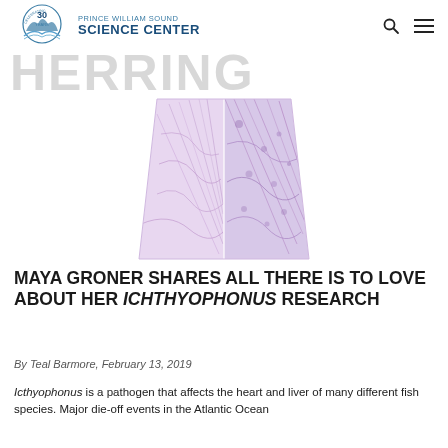PRINCE WILLIAM SOUND SCIENCE CENTER
HERRING
[Figure (photo): Histological cross-section microscopy image of fish tissue (heart/liver), stained purple/pink, showing a trapezoidal tissue sample split into two panels side by side.]
MAYA GRONER SHARES ALL THERE IS TO LOVE ABOUT HER ICHTHYOPHONUS RESEARCH
By Teal Barmore, February 13, 2019
Icthyophonus is a pathogen that affects the heart and liver of many different fish species. Major die-off events in the Atlantic Ocean have shown that it can dramatically impact the local ecosystem. Since 2007,